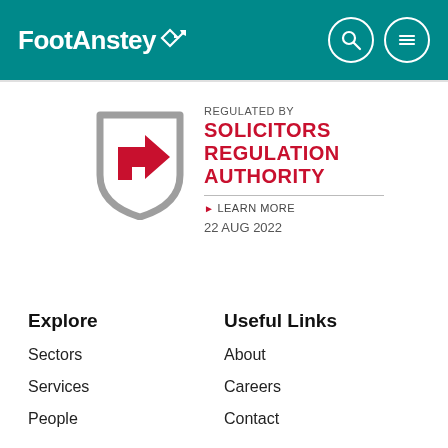FootAnstey
[Figure (logo): Solicitors Regulation Authority regulated-by badge with shield icon, red arrow, and text: REGULATED BY SOLICITORS REGULATION AUTHORITY, LEARN MORE, 22 AUG 2022]
Explore
Useful Links
Sectors
About
Services
Careers
People
Contact